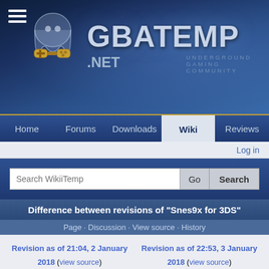[Figure (screenshot): GBAtemp.net website header banner with logo, navigation, search bar, and wiki page showing difference between revisions of Snes9x for 3DS]
GBATEMP .NET — UNDERGROUND GAMING COMMUNITY
Home · Forums · Downloads · Wiki · Reviews
Log in
Search WikiTemp  Go  Search
Difference between revisions of "Snes9x for 3DS"
Page · Discussion · View source · History
Revision as of 21:04, 2 January 2018 (view source)
Dodain47 (talk | contribs)
(→W: updated the W list)
← Older edit
Revision as of 22:53, 3 January 2018 (view source)
Dodain47 (talk | contribs)
(→W: updated the W list)
Newer edit →
[Figure (photo): Advertisement banner for Firestone tires: Select Firestone Tires. Save Up To $110 On New Tires.]